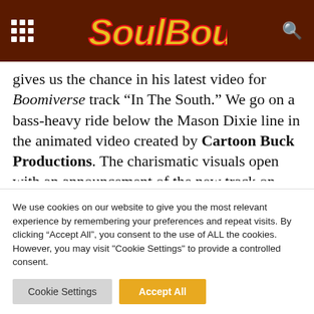SoulBounce
gives us the chance in his latest video for Boomiverse track “In The South.” We go on a bass-heavy ride below the Mason Dixie line in the animated video created by Cartoon Buck Productions. The charismatic visuals open with an announcement of the new track on Country Rap Tunes Radio, and the adventure officially begins when Pimp C revs up the engine.
We use cookies on our website to give you the most relevant experience by remembering your preferences and repeat visits. By clicking “Accept All”, you consent to the use of ALL the cookies. However, you may visit "Cookie Settings" to provide a controlled consent.